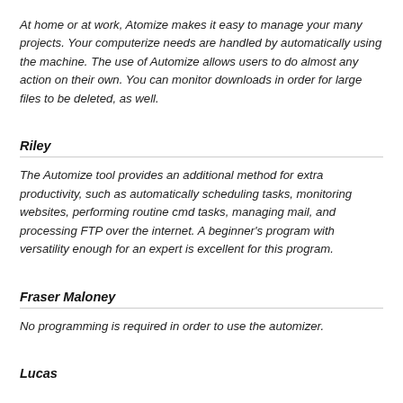At home or at work, Atomize makes it easy to manage your many projects. Your computerize needs are handled by automatically using the machine. The use of Automize allows users to do almost any action on their own. You can monitor downloads in order for large files to be deleted, as well.
Riley
The Automize tool provides an additional method for extra productivity, such as automatically scheduling tasks, monitoring websites, performing routine cmd tasks, managing mail, and processing FTP over the internet. A beginner's program with versatility enough for an expert is excellent for this program.
Fraser Maloney
No programming is required in order to use the automizer.
Lucas